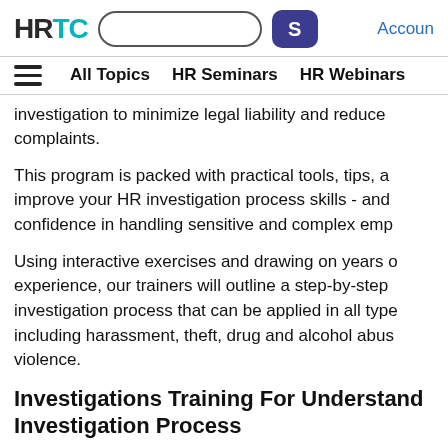HRTC [search box] [S button] Accoun...
All Topics   HR Seminars   HR Webinars
investigation to minimize legal liability and reduce ... complaints.
This program is packed with practical tools, tips, a... improve your HR investigation process skills - and ... confidence in handling sensitive and complex emp...
Using interactive exercises and drawing on years o... experience, our trainers will outline a step-by-step ... investigation process that can be applied in all type... including harassment, theft, drug and alcohol abus... violence.
Investigations Training For Understand... Investigation Process